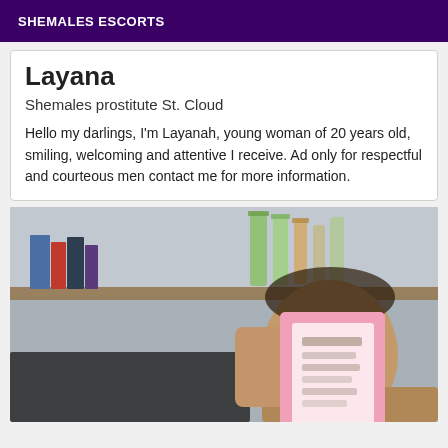SHEMALES ESCORTS
Layana
Shemales prostitute St. Cloud
Hello my darlings, I'm Layanah, young woman of 20 years old, smiling, welcoming and attentive I receive. Ad only for respectful and courteous men contact me for more information.
[Figure (photo): Person holding a pink card/document in front of shelves with books and bottles]